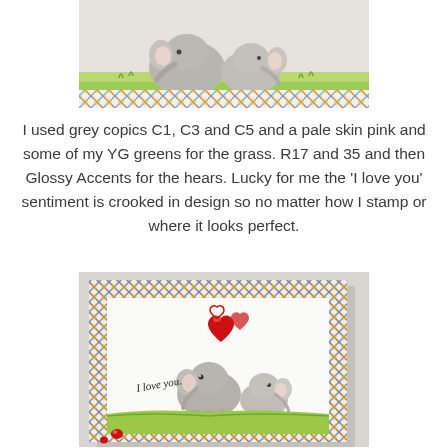[Figure (photo): Close-up crop of a handmade card showing two elephant illustrations sitting on green grass with a colorful rainbow plaid/checker border at the bottom]
I used grey copics C1, C3 and C5 and a pale skin pink and some of my YG greens for the grass. R17 and 35 and then Glossy Accents for the hears. Lucky for me the 'I love you' sentiment is crooked in design so no matter how I stamp or where it looks perfect.
[Figure (photo): A handmade greeting card standing upright, featuring two cute elephant illustrations with red hearts floating above them and 'I love you' handwritten sentiment. The card has a colorful rainbow plaid/checker border and is propped on a white surface.]